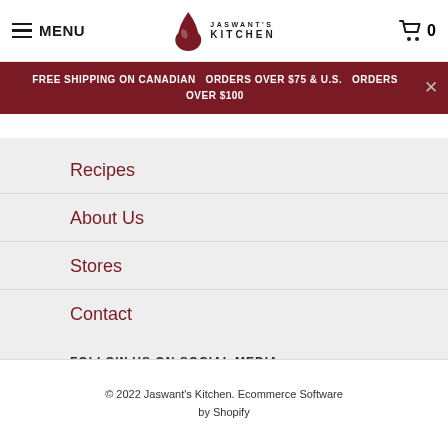MENU | JASWANT'S KITCHEN | 0
FREE SHIPPING ON CANADIAN ORDERS OVER $75 & U.S. ORDERS OVER $100
Recipes
About Us
Stores
Contact
FOLLOW US ON SOCIAL MEDIA
[Figure (infographic): Social media icons: Twitter, Facebook, YouTube, Pinterest, Instagram, Email]
© 2022 Jaswant's Kitchen. Ecommerce Software by Shopify